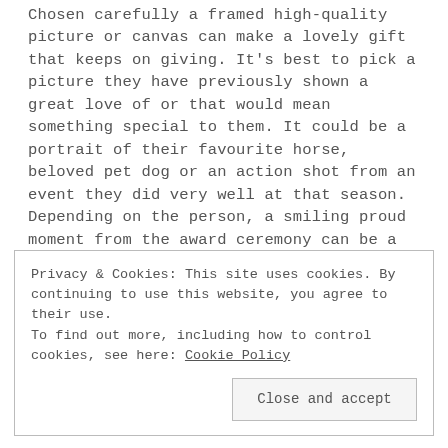Chosen carefully a framed high-quality picture or canvas can make a lovely gift that keeps on giving. It's best to pick a picture they have previously shown a great love of or that would mean something special to them. It could be a portrait of their favourite horse, beloved pet dog or an action shot from an event they did very well at that season. Depending on the person, a smiling proud moment from the award ceremony can be a nice touch bringing back good memories every time they see it.
Privacy & Cookies: This site uses cookies. By continuing to use this website, you agree to their use.
To find out more, including how to control cookies, see here: Cookie Policy